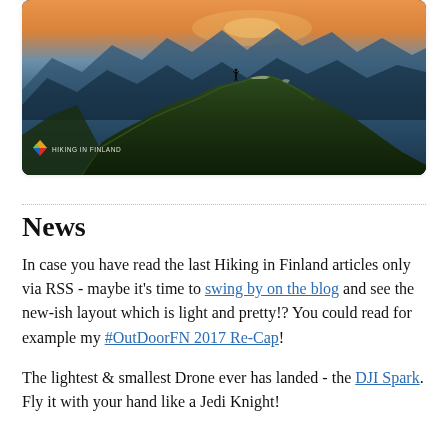[Figure (photo): Aerial mountain ridge photo at dusk/dawn with a silhouetted person standing on the ridge, dramatic mountain landscape with orange-tinted sky, labeled with Hiking in Finland logo in the bottom left corner]
News
In case you have read the last Hiking in Finland articles only via RSS - maybe it's time to swing by on the blog and see the new-ish layout which is light and pretty!? You could read for example my #OutDoorFN 2017 Re-Cap!
The lightest & smallest Drone ever has landed - the DJI Spark. Fly it with your hand like a Jedi Knight!